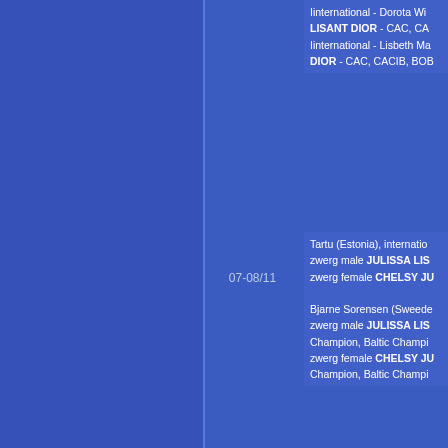Iinternational - Dorota Wi... LISANT DIOR - CAC, CA... Iinternational - Lisbeth Ma... DIOR - CAC, CACIB, BOB...
07-08/11
Tartu (Estonia), internatio... zwerg male JULISSA LIS... zwerg female CHELSY JU... Bjarne Sorensen (Sweede... zwerg male JULISSA LIS... Champion, Baltic Champi... zwerg female CHELSY JU... Champion, Baltic Champi...
25/10
Международная в-ка " Б... Бутримова (Литва) д/ш крол. кобель JULISS... Интерчемпиона